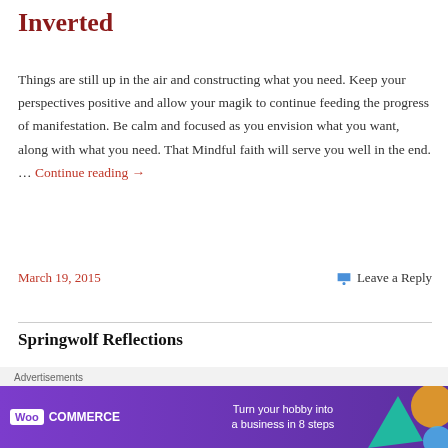Inverted
Things are still up in the air and constructing what you need. Keep your perspectives positive and allow your magik to continue feeding the progress of manifestation. Be calm and focused as you envision what you want, along with what you need. That Mindful faith will serve you well in the end. … Continue reading →
March 19, 2015
Leave a Reply
Springwolf Reflections
[Figure (screenshot): Blog section image placeholder with blue circle icon]
Advertisements
[Figure (screenshot): WooCommerce advertisement banner: Turn your hobby into a business in 8 steps]